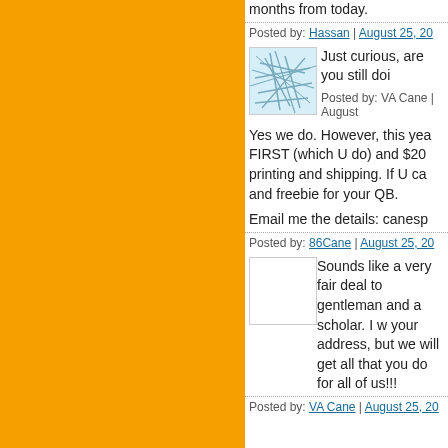months from today.
Posted by: Hassan | August 25, 20
Just curious, are you still doi
Posted by: VA Cane | August
Yes we do. However, this yea FIRST (which U do) and $20 printing and shipping. If U ca and freebie for your QB.
Email me the details: canesp
Posted by: 86Cane | August 25, 20
Sounds like a very fair deal to gentleman and a scholar. I w your address, but we will get all that you do for all of us!!!
Posted by: VA Cane | August 25, 20